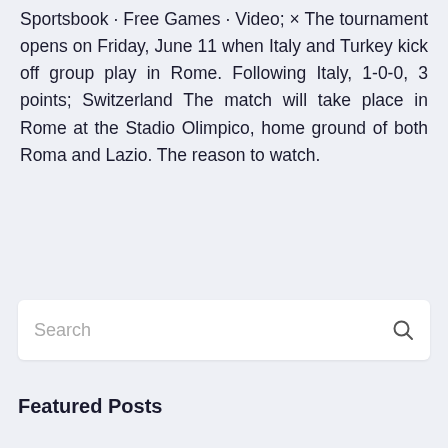Sportsbook · Free Games · Video; × The tournament opens on Friday, June 11 when Italy and Turkey kick off group play in Rome. Following Italy, 1-0-0, 3 points; Switzerland The match will take place in Rome at the Stadio Olimpico, home ground of both Roma and Lazio. The reason to watch.
[Figure (other): Search bar with placeholder text 'Search' and a magnifying glass icon on the right]
Featured Posts